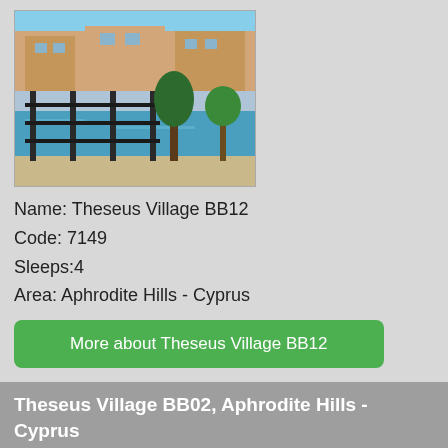[Figure (photo): Photo of Theseus Village BB12 property showing pool area with iron fence and Mediterranean-style buildings]
Name: Theseus Village BB12
Code: 7149
Sleeps:4
Area: Aphrodite Hills - Cyprus
More about Theseus Village BB12
Theseus Village BB02, Aphrodite Hills - Cyprus
[Figure (photo): Photo of Theseus Village BB02 property showing arched patio with outdoor furniture and stone facade]
Name: Theseus Village BB02
Code: 7150
Sleeps:6